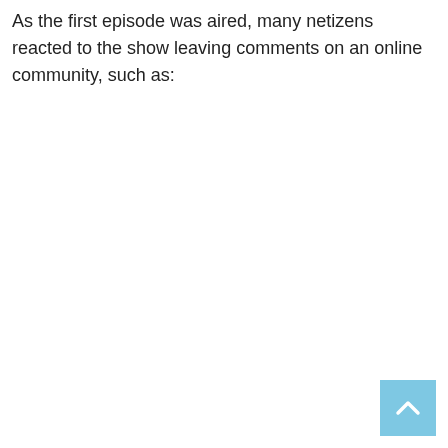As the first episode was aired, many netizens reacted to the show leaving comments on an online community, such as:
[Figure (other): Scroll-to-top button: a light blue square with an upward-pointing chevron/arrow icon in white, positioned at the bottom-right corner of the page.]